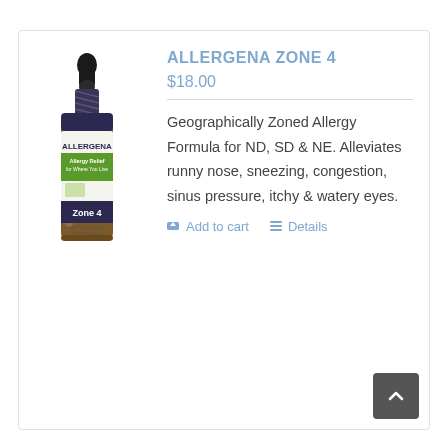[Figure (photo): A small amber glass dropper bottle with a black rubber dropper top. The label reads ALLERGENA, Allergy Relief for Where You Live, Zone 4, Up To 120 Tree, Weed & Grass Extracts + Drainage Remedies, NET 33.5 ML, 1FL OZ (30ml), 25% USP Dilution.]
ALLERGENA ZONE 4
$18.00
Geographically Zoned Allergy Formula for ND, SD & NE. Alleviates runny nose, sneezing, congestion, sinus pressure, itchy & watery eyes.
Add to cart
Details